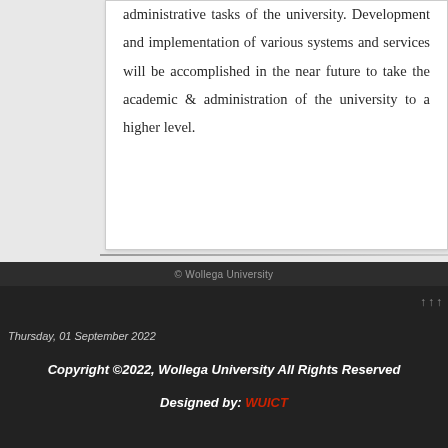administrative tasks of the university. Development and implementation of various systems and services will be accomplished in the near future to take the academic & administration of the university to a higher level.
© Wollega University
Thursday, 01 September 2022
Copyright ©2022, Wollega University All Rights Reserved Designed by: WUICT